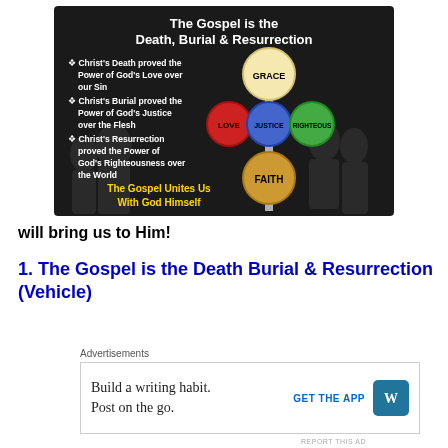[Figure (infographic): Dark background infographic about the Gospel. Title: 'The Gospel is the Death, Burial & Resurrection'. Three bullet points about Christ's Death (Grace/Love), Burial (Justice), Resurrection (Righteousness/Faith). A vertical pole with four colored spheres labeled GRACE (top, yellow-white), LOVE (red, left), JUSTICE (blue, center), RIGHTEOUS (green, right), FAITH (bottom, gold). Yellow text at bottom: 'The Gospel Unites Us With God Himself'. Silhouette figures in background.]
will bring us to Him!
1.  The Gospel is the Death Burial & Resurrection (Vehicle)
Advertisements
[Figure (screenshot): WordPress advertisement: 'Build a writing habit. Post on the go.' with 'GET THE APP' button and WordPress logo icon.]